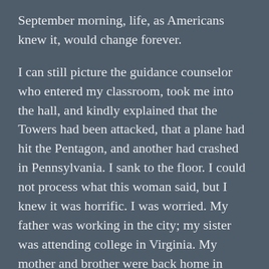September morning, life, as Americans knew it, would change forever.
I can still picture the guidance counselor who entered my classroom, took me into the hall, and kindly explained that the Towers had been attacked, that a plane had hit the Pentagon, and another had crashed in Pennsylvania. I sank to the floor. I could not process what this woman said, but I knew it was horrific. I was worried. My father was working in the city; my sister was attending college in Virginia. My mother and brother were back home in Nassau County. I was lucky; no one close to me was lost.
For days afterwards, I, like everyone else, was